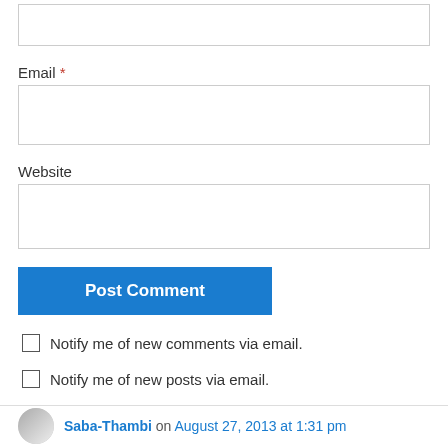Email *
Website
Post Comment
Notify me of new comments via email.
Notify me of new posts via email.
Saba-Thambi on August 27, 2013 at 1:31 pm